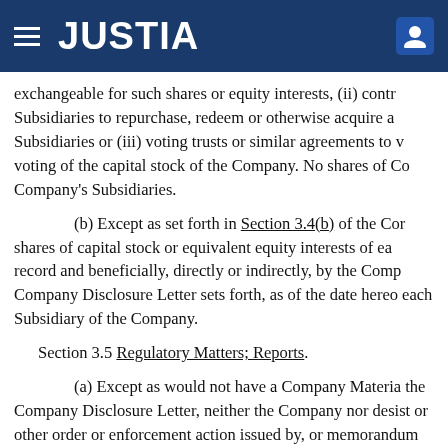JUSTIA
exchangeable for such shares or equity interests, (ii) contr Subsidiaries to repurchase, redeem or otherwise acquire a Subsidiaries or (iii) voting trusts or similar agreements to v voting of the capital stock of the Company. No shares of Co Company's Subsidiaries.
(b) Except as set forth in Section 3.4(b) of the Cor shares of capital stock or equivalent equity interests of ea record and beneficially, directly or indirectly, by the Comp Company Disclosure Letter sets forth, as of the date hereo each Subsidiary of the Company.
Section 3.5 Regulatory Matters; Reports.
(a) Except as would not have a Company Materia the Company Disclosure Letter, neither the Company nor desist or other order or enforcement action issued by, or memorandum of understanding with, or is subject to any